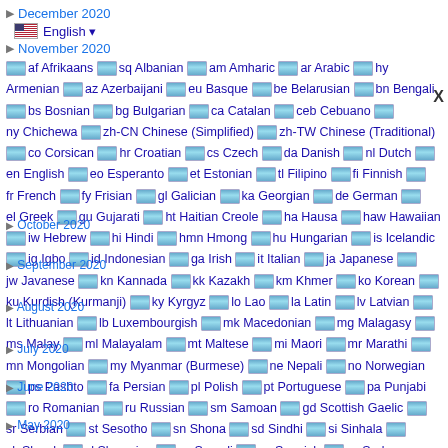December 2020
English
November 2020
af Afrikaans sq Albanian am Amharic ar Arabic hy Armenian az Azerbaijani eu Basque be Belarusian bn Bengali bs Bosnian bg Bulgarian ca Catalan ceb Cebuano ny Chichewa zh-CN Chinese (Simplified) zh-TW Chinese (Traditional) co Corsican hr Croatian cs Czech da Danish nl Dutch en English eo Esperanto et Estonian tl Filipino fi Finnish fr French fy Frisian gl Galician ka Georgian de German el Greek gu Gujarati ht Haitian Creole ha Hausa haw Hawaiian iw Hebrew hi Hindi hmn Hmong hu Hungarian is Icelandic ig Igbo id Indonesian ga Irish it Italian ja Japanese jw Javanese kn Kannada kk Kazakh km Khmer ko Korean ku Kurdish (Kurmanji) ky Kyrgyz lo Lao la Latin lv Latvian lt Lithuanian lb Luxembourgish mk Macedonian mg Malagasy ms Malay ml Malayalam mt Maltese mi Maori mr Marathi mn Mongolian my Myanmar (Burmese) ne Nepali no Norwegian ps Pashto fa Persian pl Polish pt Portuguese pa Punjabi ro Romanian ru Russian sm Samoan gd Scottish Gaelic sr Serbian st Sesotho sn Shona sd Sindhi si Sinhala sk Slovak sl Slovenian so Somali es Spanish su Sudanese sw Swahili sv Swedish tg Tajik ta Tamil te Telugu th Thai tr Turkish
October 2020
September 2020
August 2020
July 2020
June 2020
May 2020
April 2020
March 2020
February 2020
January 2020
December 2019